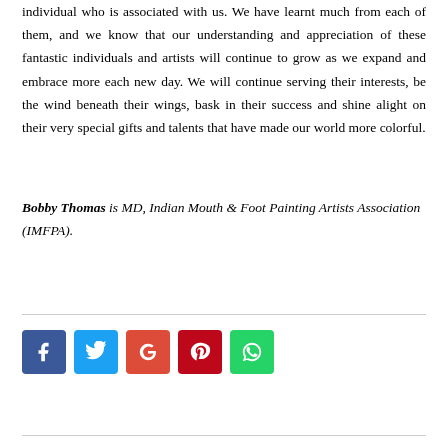individual who is associated with us. We have learnt much from each of them, and we know that our understanding and appreciation of these fantastic individuals and artists will continue to grow as we expand and embrace more each new day. We will continue serving their interests, be the wind beneath their wings, bask in their success and shine alight on their very special gifts and talents that have made our world more colorful.
Bobby Thomas is MD, Indian Mouth & Foot Painting Artists Association (IMFPA).
[Figure (other): Social media share buttons: Facebook (blue), Twitter (light blue), Google+ (red-orange), Pinterest (dark red), WhatsApp (green)]